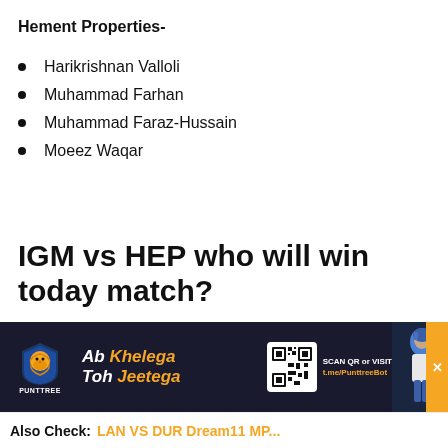Hement Properties-
Harikrishnan Valloli
Muhammad Farhan
Muhammad Faraz-Hussain
Moeez Waqar
IGM vs HEP who will win today match?
As per our Dream11 expert today, Hement Properties is expected to win this game.
[Figure (photo): Punttree advertisement banner with lion logo, slogan 'Ab Khelega Toh Jeetega' in white and orange, QR code, and cricket player image with orange X tab]
Also Check: LAN VS DUR Dream11 MP...